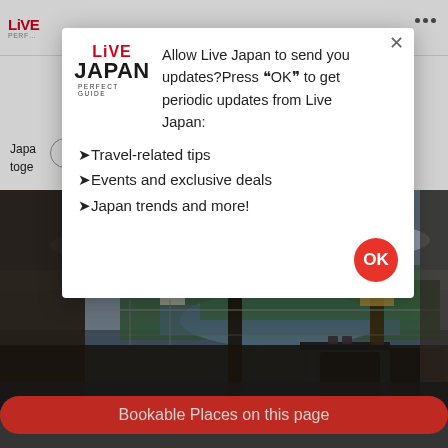LIVE JAPAN PERFECT GUIDE
Japa... toge...
[Figure (screenshot): Modal dialog from Live Japan website asking user to allow push notifications. Contains Live Japan logo, message 'Allow Live Japan to send you updates? Press OK to get periodic updates from Live Japan:', followed by bullet points: Travel-related tips, Events and exclusive deals, Japan trends and more! with an OK button.]
[Figure (photo): Hotel room balcony view overlooking a golf course with lake, trees, and cloudy sky. Outdoor furniture visible in foreground with warm lamp light.]
Bookable Places on this page